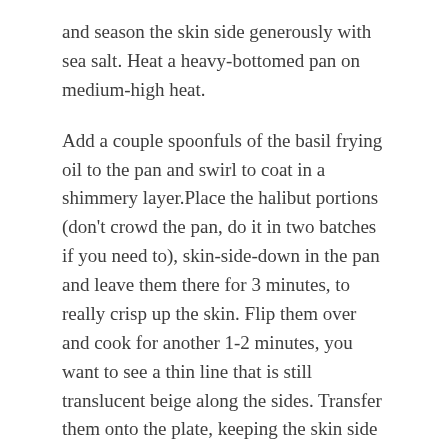and season the skin side generously with sea salt. Heat a heavy-bottomed pan on medium-high heat.
Add a couple spoonfuls of the basil frying oil to the pan and swirl to coat in a shimmery layer.Place the halibut portions (don't crowd the pan, do it in two batches if you need to), skin-side-down in the pan and leave them there for 3 minutes, to really crisp up the skin. Flip them over and cook for another 1-2 minutes, you want to see a thin line that is still translucent beige along the sides. Transfer them onto the plate, keeping the skin side facing upwards, and allow to rest for a couple of minutes before plating.
Plate up and serve with a salad as WP suggests or, if it's a chilly day where you find yourself, consider steaming